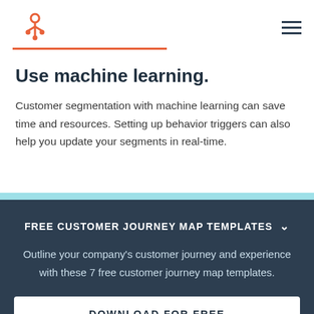HubSpot logo and navigation menu
Use machine learning.
Customer segmentation with machine learning can save time and resources. Setting up behavior triggers can also help you update your segments in real-time.
FREE CUSTOMER JOURNEY MAP TEMPLATES
Outline your company's customer journey and experience with these 7 free customer journey map templates.
DOWNLOAD FOR FREE